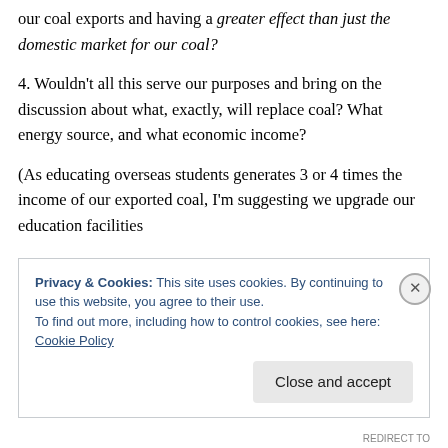our coal exports and having a greater effect than just the domestic market for our coal?
4. Wouldn't all this serve our purposes and bring on the discussion about what, exactly, will replace coal? What energy source, and what economic income?
(As educating overseas students generates 3 or 4 times the income of our exported coal, I'm suggesting we upgrade our education facilities
Privacy & Cookies: This site uses cookies. By continuing to use this website, you agree to their use.
To find out more, including how to control cookies, see here: Cookie Policy
REDIRECT TO